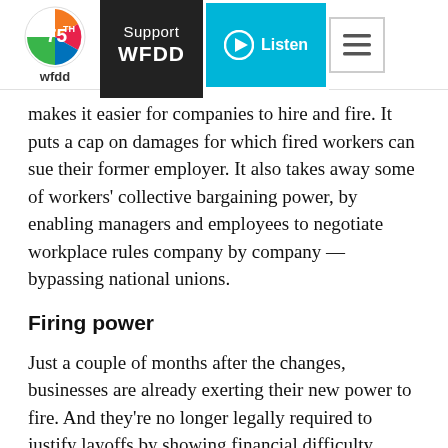WFDD 75th — Support WFDD | Listen
makes it easier for companies to hire and fire. It puts a cap on damages for which fired workers can sue their former employer. It also takes away some of workers' collective bargaining power, by enabling managers and employees to negotiate workplace rules company by company — bypassing national unions.
Firing power
Just a couple of months after the changes, businesses are already exerting their new power to fire. And they're no longer legally required to justify layoffs by showing financial difficulty.
French carmaker Peugeot plans to eliminate